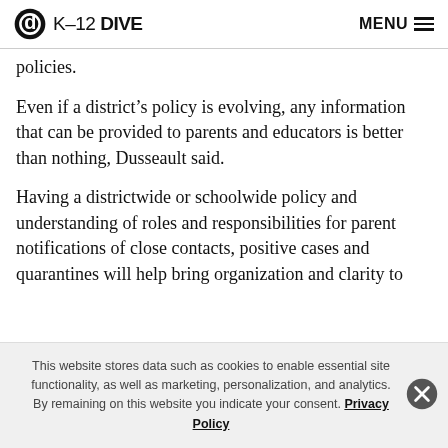K-12 DIVE  MENU
policies.
Even if a district’s policy is evolving, any information that can be provided to parents and educators is better than nothing, Dusseault said.
Having a districtwide or schoolwide policy and understanding of roles and responsibilities for parent notifications of close contacts, positive cases and quarantines will help bring organization and clarity to
This website stores data such as cookies to enable essential site functionality, as well as marketing, personalization, and analytics. By remaining on this website you indicate your consent. Privacy Policy